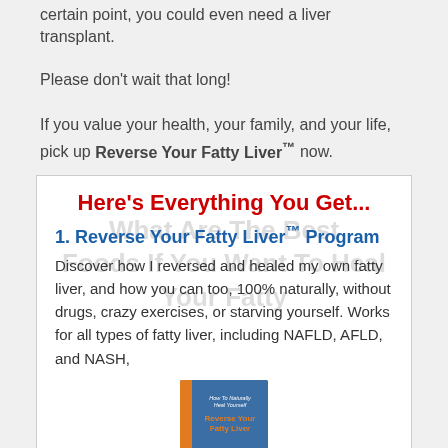certain point, you could even need a liver transplant.
Please don't wait that long!
If you value your health, your family, and your life, pick up Reverse Your Fatty Liver™ now.
Here's Everything You Get...
1. Reverse Your Fatty Liver™ Program
Discover how I reversed and healed my own fatty liver, and how you can too, 100% naturally, without drugs, crazy exercises, or starving yourself. Works for all types of fatty liver, including NAFLD, AFLD, and NASH,
[Figure (illustration): Book cover of 'Reverse Your Fatty Liver' with blue cover, orange spine, showing title text and subtitle 'How To Naturally Heal Yourself']